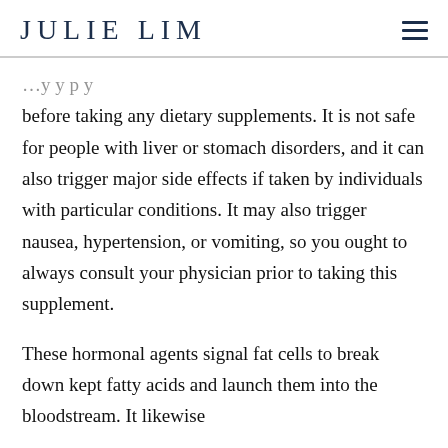JULIE LIM
before taking any dietary supplements. It is not safe for people with liver or stomach disorders, and it can also trigger major side effects if taken by individuals with particular conditions. It may also trigger nausea, hypertension, or vomiting, so you ought to always consult your physician prior to taking this supplement.
These hormonal agents signal fat cells to break down kept fatty acids and launch them into the bloodstream. It likewise